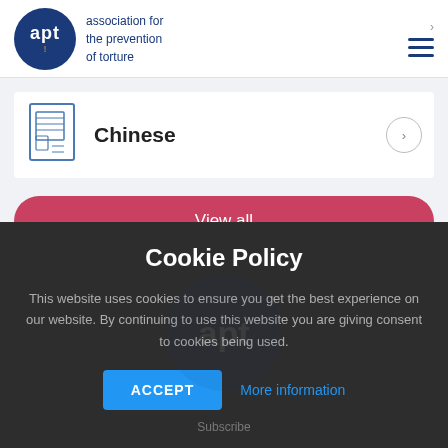apt — association for the prevention of torture
Chinese
View all
Cookie Policy
This website uses cookies to ensure you get the best experience on our website. By continuing to use this website you are giving consent to cookies being used.
ACCEPT   More information
Subscribe